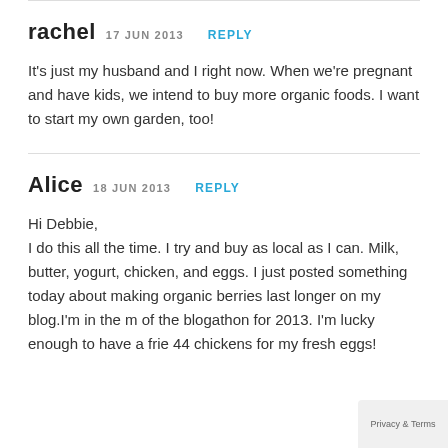rachel 17 JUN 2013 REPLY
It's just my husband and I right now. When we're pregnant and have kids, we intend to buy more organic foods. I want to start my own garden, too!
Alice 18 JUN 2013 REPLY
Hi Debbie,
I do this all the time. I try and buy as local as I can. Milk, butter, yogurt, chicken, and eggs. I just posted something today about making organic berries last longer on my blog.I'm in the m... of the blogathon for 2013. I'm lucky enough to have a frie... 44 chickens for my fresh eggs!